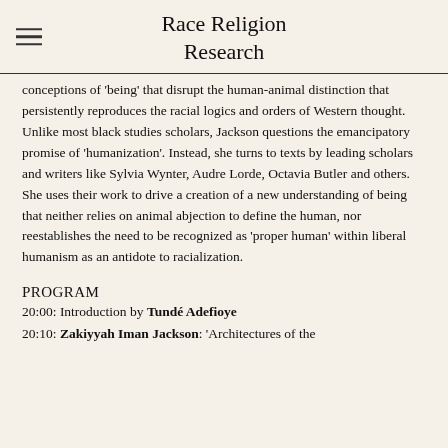Race Religion Research
conceptions of 'being' that disrupt the human-animal distinction that persistently reproduces the racial logics and orders of Western thought. Unlike most black studies scholars, Jackson questions the emancipatory promise of 'humanization'. Instead, she turns to texts by leading scholars and writers like Sylvia Wynter, Audre Lorde, Octavia Butler and others. She uses their work to drive a creation of a new understanding of being that neither relies on animal abjection to define the human, nor reestablishes the need to be recognized as 'proper human' within liberal humanism as an antidote to racialization.
PROGRAM
20:00: Introduction by Tundé Adefioye
20:10: Zakiyyah Iman Jackson: 'Architectures of the